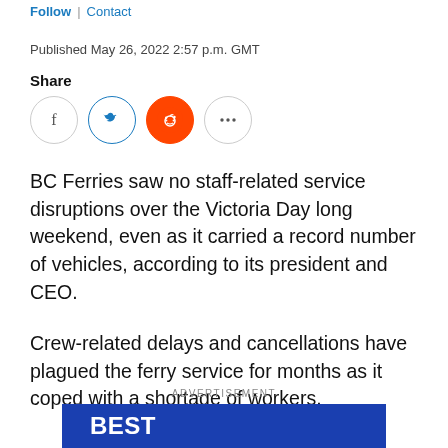Follow | Contact
Published May 26, 2022 2:57 p.m. GMT
Share
[Figure (infographic): Social share icons: Facebook, Twitter, Reddit, and more (ellipsis) buttons as circular icons]
BC Ferries saw no staff-related service disruptions over the Victoria Day long weekend, even as it carried a record number of vehicles, according to its president and CEO.
Crew-related delays and cancellations have plagued the ferry service for months as it coped with a shortage of workers.
ADVERTISEMENT
[Figure (other): Blue advertisement banner with white bold text reading BEST]